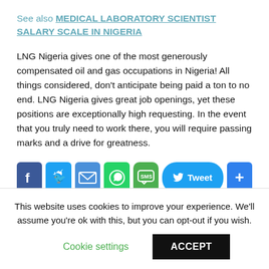See also  MEDICAL LABORATORY SCIENTIST SALARY SCALE IN NIGERIA
LNG Nigeria gives one of the most generously compensated oil and gas occupations in Nigeria! All things considered, don't anticipate being paid a ton to no end. LNG Nigeria gives great job openings, yet these positions are exceptionally high requesting. In the event that you truly need to work there, you will require passing marks and a drive for greatness.
[Figure (infographic): Social share buttons: Facebook, Twitter, Email, WhatsApp, SMS, Tweet button, and a plus/share button]
Related Posts
This website uses cookies to improve your experience. We'll assume you're ok with this, but you can opt-out if you wish.
Cookie settings   ACCEPT